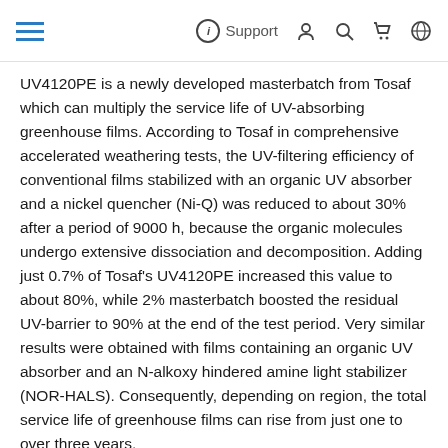≡  ⓘ Support 👤 🔍 🛒 🌐
UV4120PE is a newly developed masterbatch from Tosaf which can multiply the service life of UV-absorbing greenhouse films. According to Tosaf in comprehensive accelerated weathering tests, the UV-filtering efficiency of conventional films stabilized with an organic UV absorber and a nickel quencher (Ni-Q) was reduced to about 30% after a period of 9000 h, because the organic molecules undergo extensive dissociation and decomposition. Adding just 0.7% of Tosaf's UV4120PE increased this value to about 80%, while 2% masterbatch boosted the residual UV-barrier to 90% at the end of the test period. Very similar results were obtained with films containing an organic UV absorber and an N-alkoxy hindered amine light stabilizer (NOR-HALS). Consequently, depending on region, the total service life of greenhouse films can rise from just one to over three years.
Greenhouse operators who use a UV-absorbing film produced with Tosaf's new UV4120PE masterbatch are to benefit from